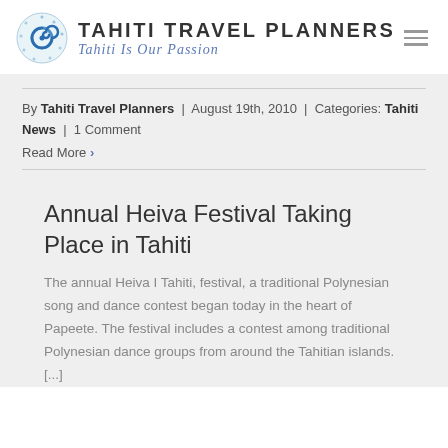[Figure (logo): Tahiti Travel Planners logo: blue spiral graphic with the text TAHITI TRAVEL PLANNERS and tagline Tahiti Is Our Passion in italic script]
By Tahiti Travel Planners | August 19th, 2010 | Categories: Tahiti News | 1 Comment
Read More >
Annual Heiva Festival Taking Place in Tahiti
The annual Heiva I Tahiti, festival, a traditional Polynesian song and dance contest began today in the heart of Papeete. The festival includes a contest among traditional Polynesian dance groups from around the Tahitian islands. [...]